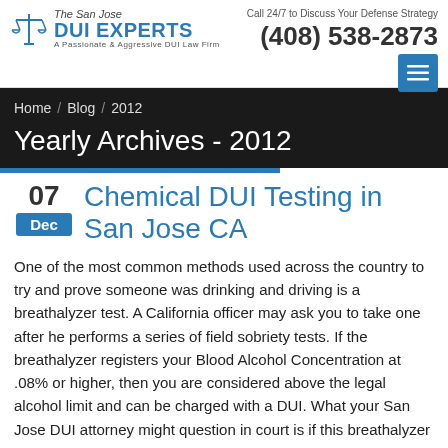The San Jose DUI EXPERTS | Call 24/7 to Discuss Your Defense Strategy | (408) 538-2873
Home / Blog / 2012
Yearly Archives - 2012
Chemical DUI Testing in San Jose CA
One of the most common methods used across the country to try and prove someone was drinking and driving is a breathalyzer test. A California officer may ask you to take one after he performs a series of field sobriety tests. If the breathalyzer registers your Blood Alcohol Concentration at .08% or higher, then you are considered above the legal alcohol limit and can be charged with a DUI. What your San Jose DUI attorney might question in court is if this breathalyzer test was